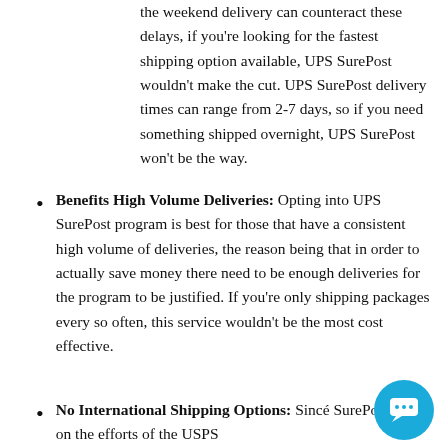the weekend delivery can counteract these delays, if you're looking for the fastest shipping option available, UPS SurePost wouldn't make the cut. UPS SurePost delivery times can range from 2-7 days, so if you need something shipped overnight, UPS SurePost won't be the way.
Benefits High Volume Deliveries: Opting into UPS SurePost program is best for those that have a consistent high volume of deliveries, the reason being that in order to actually save money there need to be enough deliveries for the program to be justified. If you're only shipping packages every so often, this service wouldn't be the most cost effective.
No International Shipping Options: Since SurePost relies on the efforts of the USPS